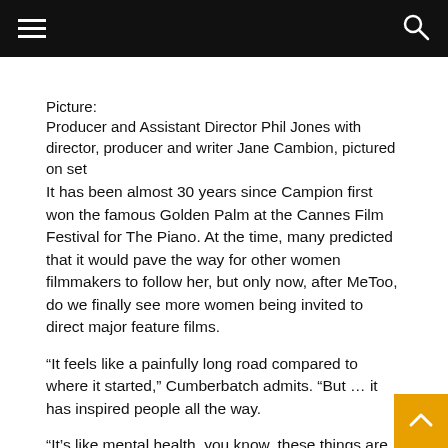≡  🔍
Picture:
Producer and Assistant Director Phil Jones with director, producer and writer Jane Cambion, pictured on set
It has been almost 30 years since Campion first won the famous Golden Palm at the Cannes Film Festival for The Piano. At the time, many predicted that it would pave the way for other women filmmakers to follow her, but only now, after MeToo, do we finally see more women being invited to direct major feature films.
“It feels like a painfully long road compared to where it started,” Cumberbatch admits. “But … it has inspired people all the way.
“It’s like mental health, you know, these things are still a stigma. There’s still something we have to talk about, discuss, write, help